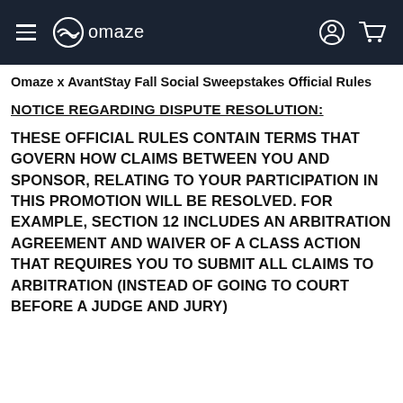omaze
Omaze x AvantStay Fall Social Sweepstakes Official Rules
NOTICE REGARDING DISPUTE RESOLUTION:
THESE OFFICIAL RULES CONTAIN TERMS THAT GOVERN HOW CLAIMS BETWEEN YOU AND SPONSOR, RELATING TO YOUR PARTICIPATION IN THIS PROMOTION WILL BE RESOLVED. FOR EXAMPLE, SECTION 12 INCLUDES AN ARBITRATION AGREEMENT AND WAIVER OF A CLASS ACTION THAT REQUIRES YOU TO SUBMIT ALL CLAIMS TO ARBITRATION (INSTEAD OF GOING TO COURT BEFORE A JUDGE AND JURY)